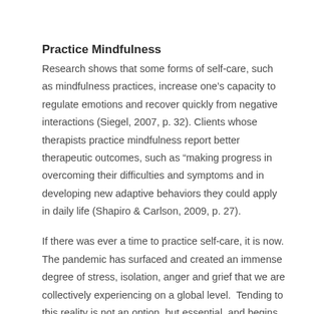Practice Mindfulness
Research shows that some forms of self-care, such as mindfulness practices, increase one’s capacity to regulate emotions and recover quickly from negative interactions (Siegel, 2007, p. 32). Clients whose therapists practice mindfulness report better therapeutic outcomes, such as “making progress in overcoming their difficulties and symptoms and in developing new adaptive behaviors they could apply in daily life (Shapiro & Carlson, 2009, p. 27).
If there was ever a time to practice self-care, it is now. The pandemic has surfaced and created an immense degree of stress, isolation, anger and grief that we are collectively experiencing on a global level.  Tending to this reality is not an option, but essential, and begins